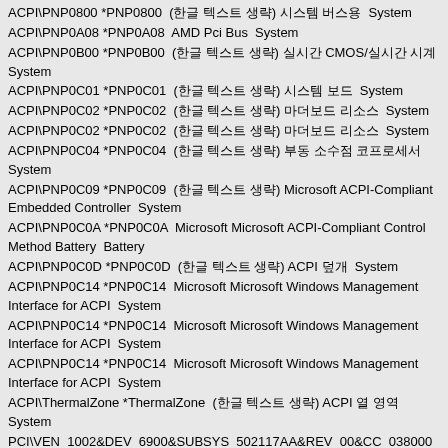ACPI\PNP0800 *PNP0800  (한글 텍스트 생략) 시스템 버스용  System
ACPI\PNP0A08 *PNP0A08  AMD Pci Bus  System
ACPI\PNP0B00 *PNP0B00  (한글 텍스트 생략) 실시간 CMOS/실시간 시계  System
ACPI\PNP0C01 *PNP0C01  (한글 텍스트 생략) 시스템 보드  System
ACPI\PNP0C02 *PNP0C02  (한글 텍스트 생략) 마더보드 리소스  System
ACPI\PNP0C02 *PNP0C02  (한글 텍스트 생략) 마더보드 리소스  System
ACPI\PNP0C04 *PNP0C04  (한글 텍스트 생략) 부동 소수점 코프로세서  System
ACPI\PNP0C09 *PNP0C09  (한글 텍스트 생략) Microsoft ACPI-Compliant Embedded Controller  System
ACPI\PNP0C0A *PNP0C0A  Microsoft Microsoft ACPI-Compliant Control Method Battery  Battery
ACPI\PNP0C0D *PNP0C0D  (한글 텍스트 생략) ACPI 덮개  System
ACPI\PNP0C14 *PNP0C14  Microsoft Microsoft Windows Management Interface for ACPI  System
ACPI\PNP0C14 *PNP0C14  Microsoft Microsoft Windows Management Interface for ACPI  System
ACPI\PNP0C14 *PNP0C14  Microsoft Microsoft Windows Management Interface for ACPI  System
ACPI\ThermalZone *ThermalZone  (한글 텍스트 생략) ACPI 열 영역  System
PCI\VEN_1002&DEV_6900&SUBSYS_502117AA&REV_00&CC_038000 Advanced Micro Devices, Inc. AMD Radeon R7 M260 PCI 버스 5, 장치 0, 기능 0 Display
PCI\VEN_10EC&DEV_5227&SUBSYS_502017AA&REV_01&CC_FF000